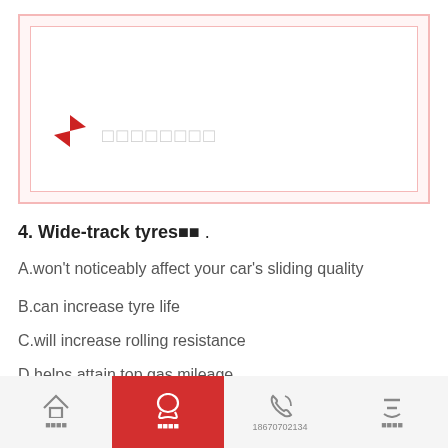[Figure (other): A card/flashcard UI element with a red diamond sort icon and placeholder text (rectangles) representing a dropdown or sort selector]
4. Wide-track tyres■■ .
A.won't noticeably affect your car's sliding quality
B.can increase tyre life
C.will increase rolling resistance
D.helps attain top gas mileage
■■■■  ■■■■  18670702134  ■■■■